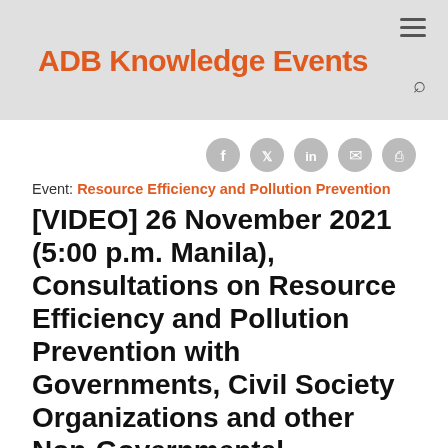ADB Knowledge Events
Event: Resource Efficiency and Pollution Prevention
[VIDEO] 26 November 2021 (5:00 p.m. Manila), Consultations on Resource Efficiency and Pollution Prevention with Governments, Civil Society Organizations and other Non-Governmental Stakeholders in South Asia and...